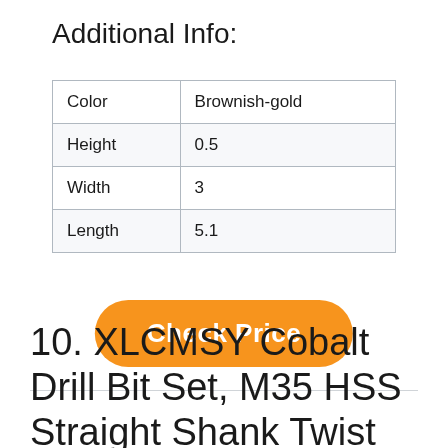Additional Info:
| Color | Brownish-gold |
| Height | 0.5 |
| Width | 3 |
| Length | 5.1 |
[Figure (other): Orange rounded rectangle button with white bold text 'Check Price']
10. XLCMSY Cobalt Drill Bit Set, M35 HSS Straight Shank Twist